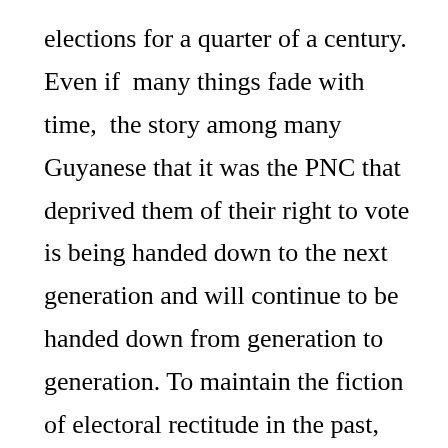elections for a quarter of a century. Even if many things fade with time, the story among many Guyanese that it was the PNC that deprived them of their right to vote is being handed down to the next generation and will continue to be handed down from generation to generation. To maintain the fiction of electoral rectitude in the past, the PNC is forced to allege that election after election since 1992 has been rigged against it, otherwise it would have won fairly, as in the